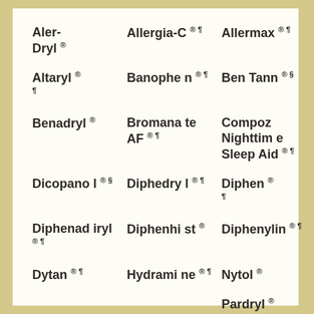Aler-Dryl ® Allergia-C ® ¶ Allermax ® ¶
Altaryl ® ¶ Banophen ® ¶ Ben Tann ® §
Benadryl ® Bromanate AF ® ¶ Compoz Nighttime Sleep Aid ® ¶
Dicopanol ® § Diphedryl ® ¶ Diphen ® ¶
Diphenadiryl ® ¶ Diphenhi st ® Diphenylin ® ¶
Dytan ® ¶ Hydramine ® ¶ Nytol ®
Pardryl ® ¶